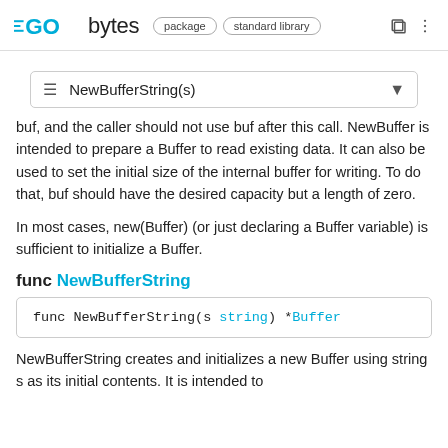GO bytes | package | standard library
≡ NewBufferString(s)
buf, and the caller should not use buf after this call. NewBuffer is intended to prepare a Buffer to read existing data. It can also be used to set the initial size of the internal buffer for writing. To do that, buf should have the desired capacity but a length of zero.
In most cases, new(Buffer) (or just declaring a Buffer variable) is sufficient to initialize a Buffer.
func NewBufferString
func NewBufferString(s string) *Buffer
NewBufferString creates and initializes a new Buffer using string s as its initial contents. It is intended to